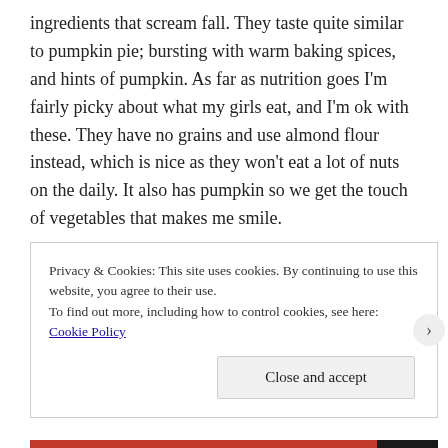ingredients that scream fall. They taste quite similar to pumpkin pie; bursting with warm baking spices, and hints of pumpkin. As far as nutrition goes I'm fairly picky about what my girls eat, and I'm ok with these. They have no grains and use almond flour instead, which is nice as they won't eat a lot of nuts on the daily. It also has pumpkin so we get the touch of vegetables that makes me smile.
Privacy & Cookies: This site uses cookies. By continuing to use this website, you agree to their use.
To find out more, including how to control cookies, see here: Cookie Policy
Close and accept